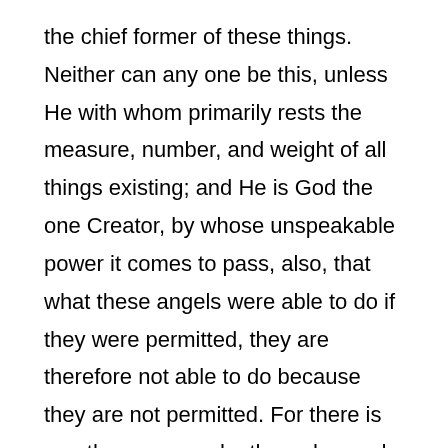the chief former of these things. Neither can any one be this, unless He with whom primarily rests the measure, number, and weight of all things existing; and He is God the one Creator, by whose unspeakable power it comes to pass, also, that what these angels were able to do if they were permitted, they are therefore not able to do because they are not permitted. For there is no other reason why they who made frogs and serpents were not able to make the most minute flies, unless because the greater power of God